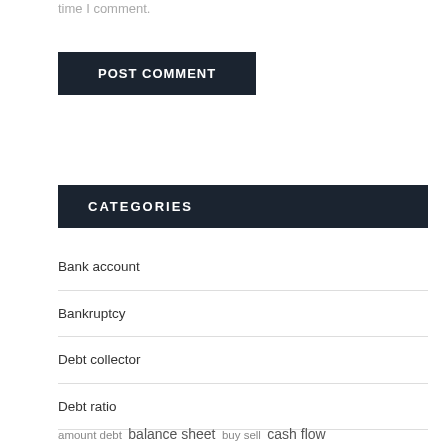time I comment.
POST COMMENT
CATEGORIES
Bank account
Bankruptcy
Debt collector
Debt ratio
Legal process
amount debt   balance sheet   buy sell   cash flow